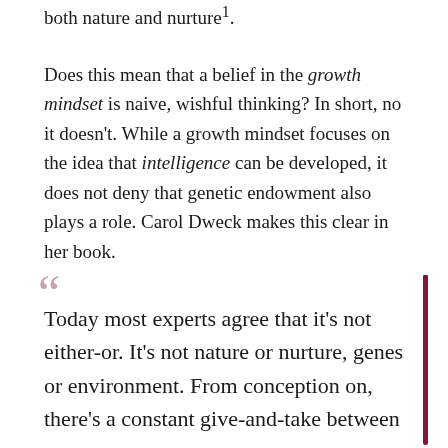both nature and nurture¹.
Does this mean that a belief in the growth mindset is naive, wishful thinking? In short, no it doesn't. While a growth mindset focuses on the idea that intelligence can be developed, it does not deny that genetic endowment also plays a role. Carol Dweck makes this clear in her book.
Today most experts agree that it's not either-or. It's not nature or nurture, genes or environment. From conception on, there's a constant give-and-take between